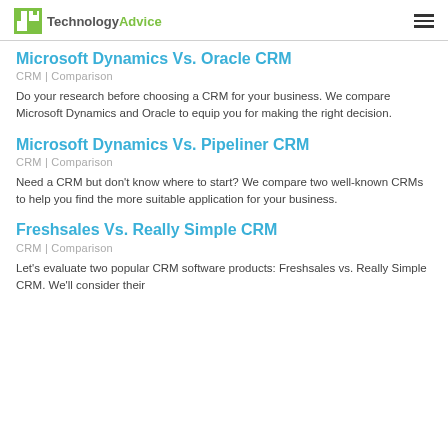TechnologyAdvice
Microsoft Dynamics Vs. Oracle CRM
CRM | Comparison
Do your research before choosing a CRM for your business. We compare Microsoft Dynamics and Oracle to equip you for making the right decision.
Microsoft Dynamics Vs. Pipeliner CRM
CRM | Comparison
Need a CRM but don't know where to start? We compare two well-known CRMs to help you find the more suitable application for your business.
Freshsales Vs. Really Simple CRM
CRM | Comparison
Let's evaluate two popular CRM software products: Freshsales vs. Really Simple CRM. We'll consider their